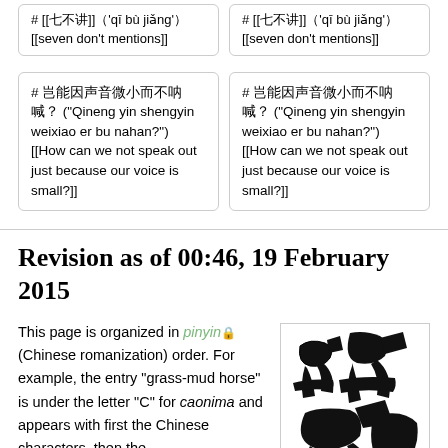# [[七不讲]]（'qī bù jiǎng'）[[seven don't mentions]]
# [[七不讲]]（'qī bù jiǎng'）[[seven don't mentions]]
# 岂能因声音微小而不呐喊？ ("Qineng yin shengyin weixiao er bu nahan?") [[How can we not speak out just because our voice is small?]]
# 岂能因声音微小而不呐喊？ ("Qineng yin shengyin weixiao er bu nahan?") [[How can we not speak out just because our voice is small?]]
Revision as of 00:46, 19 February 2015
This page is organized in pinyin (Chinese romanization) order. For example, the entry "grass-mud horse" is under the letter "C" for caonima and appears with first the Chinese characters, then the
[Figure (illustration): Chinese calligraphy characters in black ink on white background, showing large bold brushstroke characters]